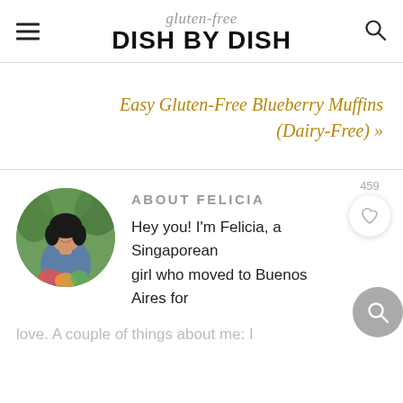gluten-free DISH BY DISH
Easy Gluten-Free Blueberry Muffins (Dairy-Free) »
ABOUT FELICIA
[Figure (photo): Circular profile photo of Felicia, a woman holding vegetables/flowers outdoors with greenery in background]
Hey you! I'm Felicia, a Singaporean girl who moved to Buenos Aires for love. A couple of things about me: I